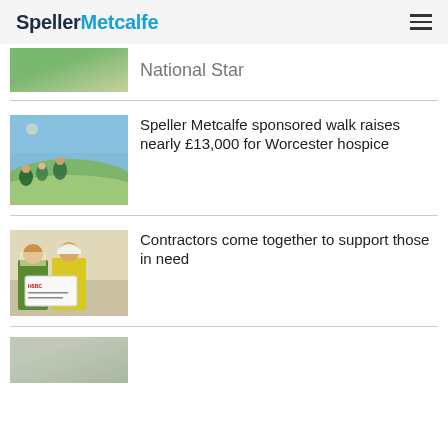SpellerMetcalfe
[Figure (photo): Partial view of a landscape photo, cropped at top]
National Star
[Figure (photo): Group of people walking up a hill on a sunny day, selfie-style photo]
Speller Metcalfe sponsored walk raises nearly £13,000 for Worcester hospice
[Figure (photo): Two people in hi-vis vests holding a large HSBC cheque indoors]
Contractors come together to support those in need
[Figure (photo): Partial bottom image, cropped]